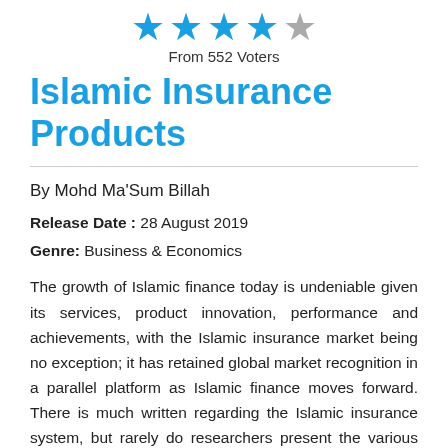[Figure (other): Five-star rating widget: 4 filled blue stars and 1 grey empty star]
From 552 Voters
Islamic Insurance Products
By Mohd Ma'Sum Billah
Release Date : 28 August 2019
Genre: Business & Economics
The growth of Islamic finance today is undeniable given its services, product innovation, performance and achievements, with the Islamic insurance market being no exception; it has retained global market recognition in a parallel platform as Islamic finance moves forward. There is much written regarding the Islamic insurance system, but rarely do researchers present the various Islamic insurance products and